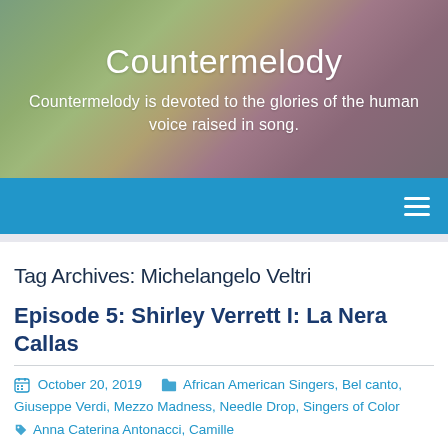Countermelody
Countermelody is devoted to the glories of the human voice raised in song.
Tag Archives: Michelangelo Veltri
Episode 5: Shirley Verrett I: La Nera Callas
October 20, 2019  African American Singers, Bel canto, Giuseppe Verdi, Mezzo Madness, Needle Drop, Singers of Color  Anna Caterina Antonacci, Camille